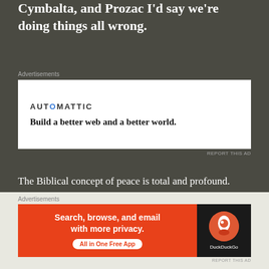Cymbalta, and Prozac I'd say we're doing things all wrong.
[Figure (other): Automattic advertisement: 'Build a better web and a better world.']
The Biblical concept of peace is total and profound. Peace is much more than having a restful state of mind...it is our access point to the power of God. Without peace we are unable to implement our spiritual gifts and successfully do the work of God. It touches upon our relationship with God, with our inner self, with other believers, and with the world at large. We sustain peace with God by believing & trusting Him. We preserve peace with our fellow man by
[Figure (other): DuckDuckGo advertisement: 'Search, browse, and email with more privacy. All in One Free App']